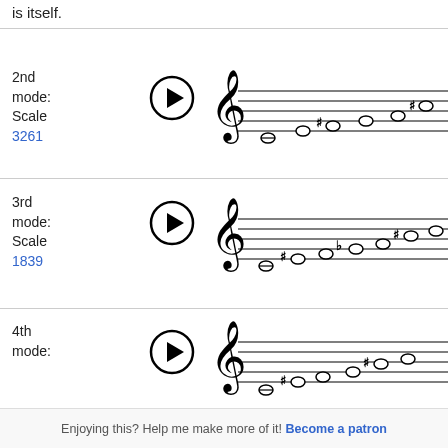is itself.
2nd mode: Scale
3261
[Figure (illustration): Musical staff showing 2nd mode scale with whole notes and sharp accidentals]
3rd mode: Scale
1839
[Figure (illustration): Musical staff showing 3rd mode scale with whole notes, sharp and flat accidentals]
4th mode:
[Figure (illustration): Musical staff showing 4th mode scale partial view]
Enjoying this? Help me make more of it! Become a patron